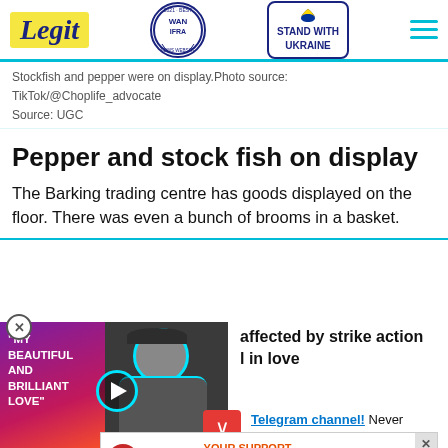Legit — WAN IFRA 2021 Best News Website in Africa — Stand with Ukraine
Stockfish and pepper were on display.Photo source:
TikTok/@Choplife_advocate
Source: UGC
Pepper and stock fish on display
The Barking trading centre has goods displayed on the floor. There was even a bunch of brooms in a basket.
[Figure (screenshot): Video overlay with quote 'MY BEAUTIFUL AND BRILLIANT LOVE' on colorful background and person in cap, partially visible headline about strike action and love]
affected by strike action l in love
Telegram channel! Never